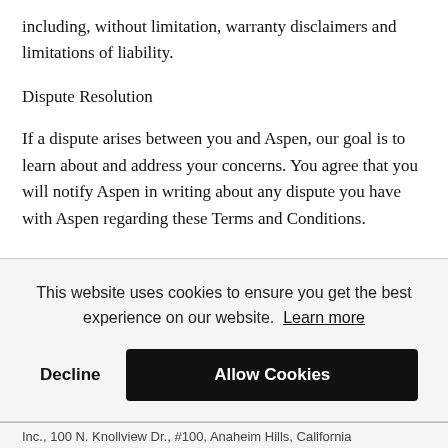including, without limitation, warranty disclaimers and limitations of liability.
Dispute Resolution
If a dispute arises between you and Aspen, our goal is to learn about and address your concerns. You agree that you will notify Aspen in writing about any dispute you have with Aspen regarding these Terms and Conditions.
This website uses cookies to ensure you get the best experience on our website. Learn more
Decline   Allow Cookies
Inc., 100 N. Knollview Dr., #100, Anaheim Hills, California